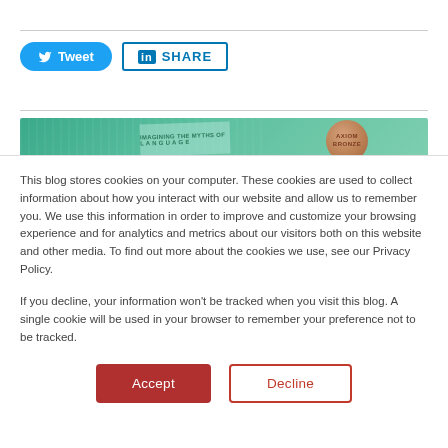[Figure (screenshot): Social sharing buttons: Tweet (Twitter) and SHARE (LinkedIn)]
[Figure (photo): Axiom bronze award banner with green background and bronze medal/coin]
This blog stores cookies on your computer. These cookies are used to collect information about how you interact with our website and allow us to remember you. We use this information in order to improve and customize your browsing experience and for analytics and metrics about our visitors both on this website and other media. To find out more about the cookies we use, see our Privacy Policy.
If you decline, your information won't be tracked when you visit this blog. A single cookie will be used in your browser to remember your preference not to be tracked.
[Figure (screenshot): Accept and Decline buttons for cookie consent]